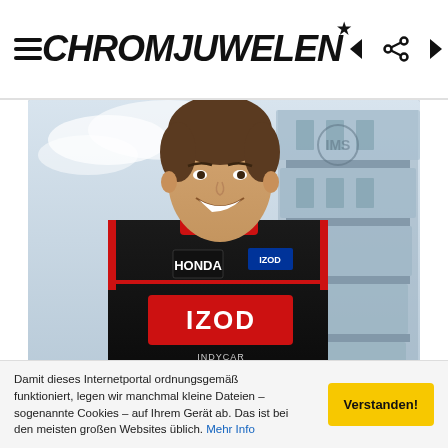CHROMJUWELEN
[Figure (photo): A racing driver in a black Honda/IZOD IndyCar Series race suit smiling at the camera, with the Indianapolis Motor Speedway pagoda structure visible in the blurred background.]
INDIANAPOLIS MOTOR SPEEDWAY HALL OF FAME TO INDUCT DAN WHELDON AND BOB
Damit dieses Internetportal ordnungsgemäß funktioniert, legen wir manchmal kleine Dateien – sogenannte Cookies – auf Ihrem Gerät ab. Das ist bei den meisten großen Websites üblich. Mehr Info
Verstanden!